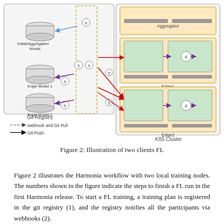[Figure (engineering-diagram): Federated Learning workflow diagram showing a Git Registry with Initial/Aggregated Model, Edge Model 1, Edge Model 2 cylinders on the left, connected via webhook/git-pull (dashed arrows) and git-push (solid arrows) to a K8S Cluster on the right containing an Aggregator node at the top and two edge nodes (Edge1, Edge2) each with numbered steps (circles 3,4,5,6,8,9). Purple and red arrows indicate data flow between components. Legend shows dashed arrow = webhook and Git Pull, solid arrow = Git Push.]
Figure 2: Illustration of two clients FL
Figure 2 illustrates the Harmonia workflow with two local training nodes. The numbers shown in the figure indicate the steps to finish a FL run in the first Harmonia release. To start a FL training, a training plan is registered in the git registry (1), and the registry notifies all the participants via webhooks (2).